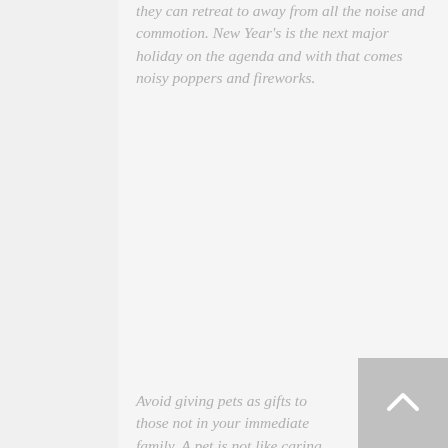they can retreat to away from all the noise and commotion. New Year's is the next major holiday on the agenda and with that comes noisy poppers and fireworks.
Avoid giving pets as gifts to those not in your immediate family. A pet is not like caring for a plant. It's a full-time job. Gifting a living being to someone who may not be prepared to handle everything that comes with that is not a good idea. This is what often